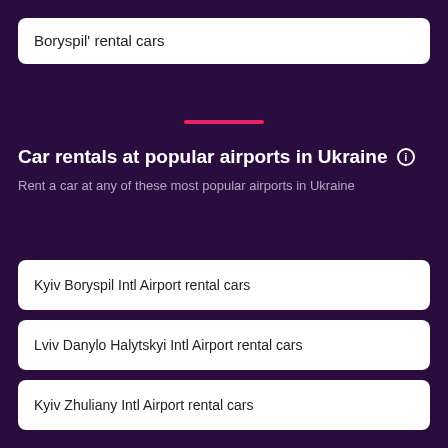Boryspil' rental cars
Car rentals at popular airports in Ukraine
Rent a car at any of these most popular airports in Ukraine
Kyiv Boryspil Intl Airport rental cars
Lviv Danylo Halytskyi Intl Airport rental cars
Kyiv Zhuliany Intl Airport rental cars